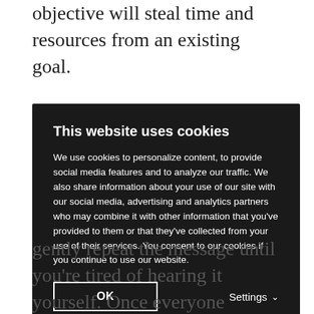workload, or you may be concerned that a sprint objective will steal time and resources from an existing goal.
[Figure (screenshot): Cookie consent dialog with dark background. Title: 'This website uses cookies'. Body text about cookie usage and data sharing. OK button and Settings dropdown.]
gently repeat the message until you're tired of hearing it yourself. Once everyone connected to the goal is in alignment, agree on three-to-five measurable and time-bound team key results to help focus on the new objective.